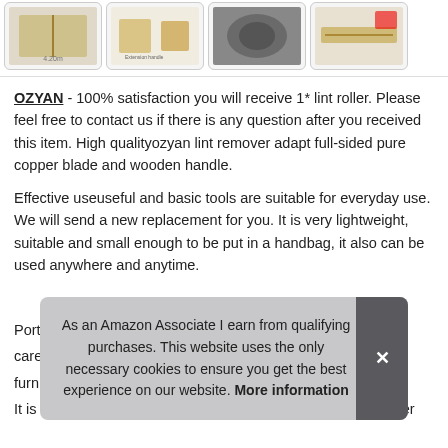[Figure (photo): Row of four product thumbnail images showing a lint roller with copper blade and wooden handle from different angles]
OZYAN - 100% satisfaction you will receive 1* lint roller. Please feel free to contact us if there is any question after you received this item. High qualityozyan lint remover adapt full-sided pure copper blade and wooden handle.
Effective useuseful and basic tools are suitable for everyday use. We will send a new replacement for you. It is very lightweight, suitable and small enough to be put in a handbag, it also can be used anywhere and anytime.
More information
Port... care... furn... It is durable, reusable, without leaving a residue behind. Batter
As an Amazon Associate I earn from qualifying purchases. This website uses the only necessary cookies to ensure you get the best experience on our website. More information